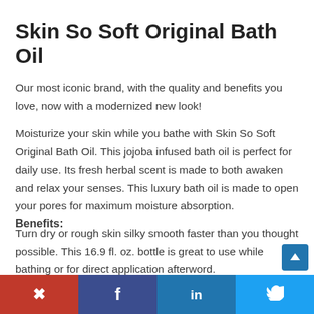Skin So Soft Original Bath Oil
Our most iconic brand, with the quality and benefits you love, now with a modernized new look!
Moisturize your skin while you bathe with Skin So Soft Original Bath Oil. This jojoba infused bath oil is perfect for daily use. Its fresh herbal scent is made to both awaken and relax your senses. This luxury bath oil is made to open your pores for maximum moisture absorption.
Turn dry or rough skin silky smooth faster than you thought possible. This 16.9 fl. oz. bottle is great to use while bathing or for direct application afterword.
Benefits:
Pinterest | Facebook | LinkedIn | Twitter social share buttons